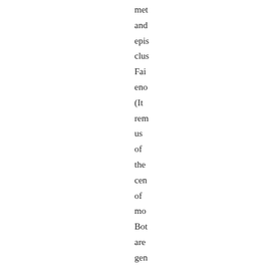met
and
epis
clus
Fai
eno
(It
rem
us
of
the
cen
of
mo
Bot
are
gen
phi
phi
wh
wo
hol
up